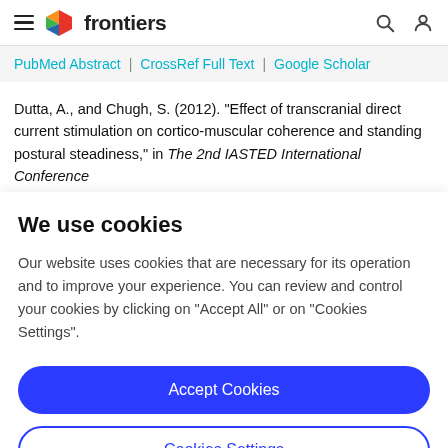frontiers
PubMed Abstract | CrossRef Full Text | Google Scholar
Dutta, A., and Chugh, S. (2012). "Effect of transcranial direct current stimulation on cortico-muscular coherence and standing postural steadiness," in The 2nd IASTED International Conference
We use cookies
Our website uses cookies that are necessary for its operation and to improve your experience. You can review and control your cookies by clicking on "Accept All" or on "Cookies Settings".
Accept Cookies
Cookies Settings